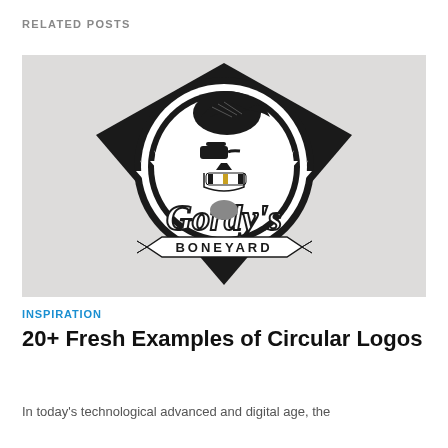RELATED POSTS
[Figure (logo): Gordy's Boneyard logo: a skull with pompadour hair and sunglasses inside a circular badge with lightning bolts, banner reading 'BONEYARD' at the bottom, stylized script 'Gordy's' across the middle, black and white with a gold tooth accent, on a light textured background.]
INSPIRATION
20+ Fresh Examples of Circular Logos
In today’s technological advanced and digital age, the